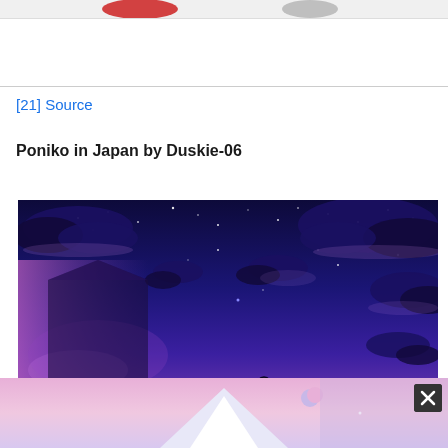[Figure (illustration): Partial top strip showing red/grey elements cut off from previous content]
[21] Source
Poniko in Japan by Duskie-06
[Figure (illustration): Digital illustration showing a night sky scene over Japan with dark blue/purple clouds scattered across a starry sky, transitioning to a twilight purple-pink gradient lower in the image with Mount Fuji visible at the bottom and birds silhouetted against the dusk sky, with a crescent moon visible]
[Figure (illustration): Overlay strip at bottom showing continuation of the illustration with Mount Fuji snow-capped peak and pink/lavender sky with a close button (X) in the lower right corner]